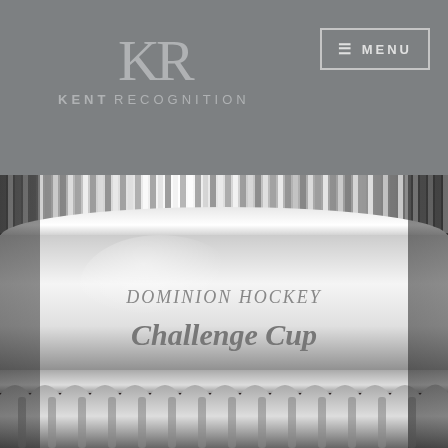Kent Recognition
[Figure (logo): KR monogram logo with 'KENT RECOGNITION' text below, on grey background]
[Figure (photo): Close-up photograph of a shiny silver trophy cup engraved with 'DOMINION HOCKEY Challenge Cup']
DOMINION HOCKEY Challenge Cup